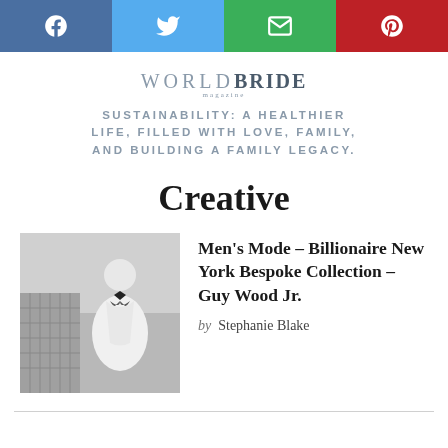[Figure (infographic): Social share bar with four buttons: Facebook (blue), Twitter (light blue), Email (green), Pinterest (red), each with white icons]
WORLD BRIDE magazine
SUSTAINABILITY: A HEALTHIER LIFE, FILLED WITH LOVE, FAMILY, AND BUILDING A FAMILY LEGACY.
Creative
[Figure (photo): Black and white photo of a man in a white tuxedo with bow tie standing outdoors near a building]
Men's Mode – Billionaire New York Bespoke Collection – Guy Wood Jr.
by Stephanie Blake